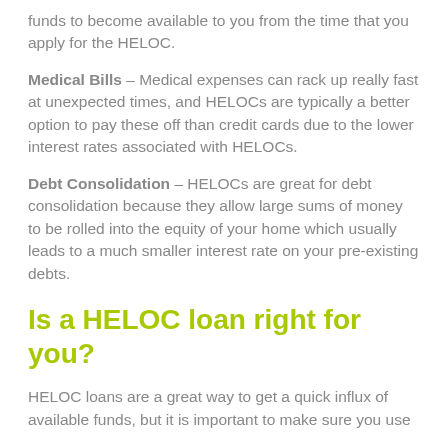funds to become available to you from the time that you apply for the HELOC.
Medical Bills – Medical expenses can rack up really fast at unexpected times, and HELOCs are typically a better option to pay these off than credit cards due to the lower interest rates associated with HELOCs.
Debt Consolidation – HELOCs are great for debt consolidation because they allow large sums of money to be rolled into the equity of your home which usually leads to a much smaller interest rate on your pre-existing debts.
Is a HELOC loan right for you?
HELOC loans are a great way to get a quick influx of available funds, but it is important to make sure you use